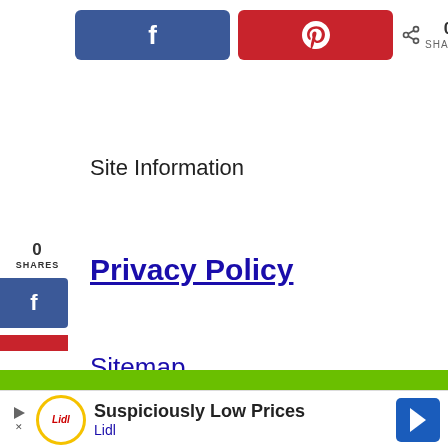[Figure (infographic): Social share buttons: Facebook (blue) and Pinterest (red), with share count showing 0 SHARES]
Site Information
0
SHARES
[Figure (infographic): Left sidebar Facebook share button (blue)]
Privacy Policy
Sitemap
We use cookies on our website to give you the most relevant experience by remembering your preferences and repeat visits. By clicking “Accept”, you consent to the use of ALL the cookies.
Do not sell my personal information.
[Figure (infographic): Lidl advertisement banner: Suspiciously Low Prices - Lidl]